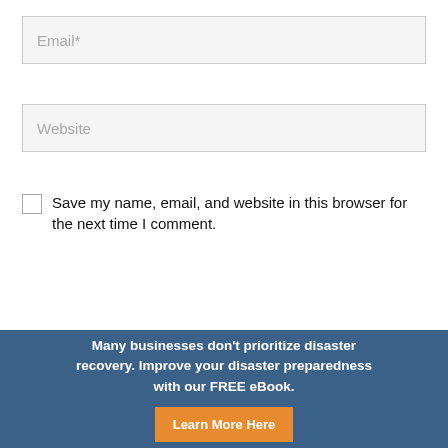Email*
Website
Save my name, email, and website in this browser for the next time I comment.
Many businesses don't prioritize disaster recovery. Improve your disaster preparedness with our FREE eBook.
Learn More Here